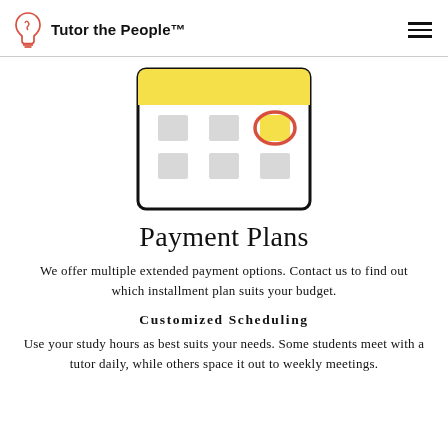Tutor the People™
[Figure (illustration): A calendar icon with a yellow header bar and a grid of grey date squares, with one square circled in red/orange and highlighted in yellow.]
Payment Plans
We offer multiple extended payment options. Contact us to find out which installment plan suits your budget.
Customized Scheduling
Use your study hours as best suits your needs. Some students meet with a tutor daily, while others space it out to weekly meetings.